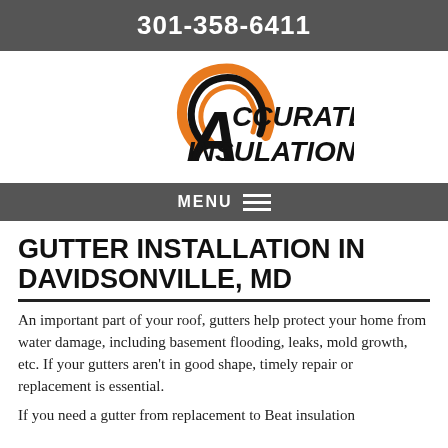301-358-6411
[Figure (logo): Accurate Insulation LLC logo with orange and black circular signal icon above the company name in stylized bold italic text]
MENU
GUTTER INSTALLATION IN DAVIDSONVILLE, MD
An important part of your roof, gutters help protect your home from water damage, including basement flooding, leaks, mold growth, etc. If your gutters aren't in good shape, timely repair or replacement is essential.
If you need a gutter from replacement to Beat insulation